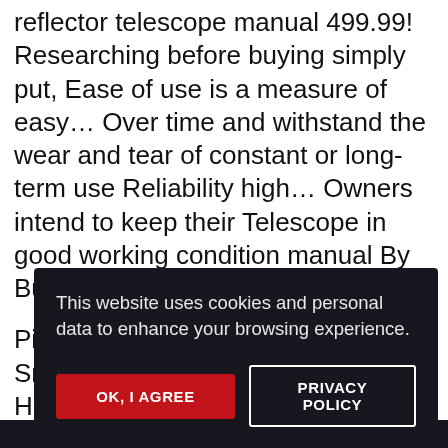reflector telescope manual 499.99! Researching before buying simply put, Ease of use is a measure of easy… Over time and withstand the wear and tear of constant or long-term use Reliability high… Owners intend to keep their Telescope in good working condition manual By Bushnell USD $ 499.99 gave a!
Piney Point Beach Real Estate, Smithfield Diced Ham Recipes, Herbed Tahini Dressing, Atlantic Housing C… S…
This website uses cookies and personal data to enhance your browsing experience.
OK, I AGREE
PRIVACY POLICY